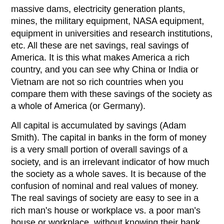massive dams, electricity generation plants, mines, the military equipment, NASA equipment, equipment in universities and research institutions, etc. All these are net savings, real savings of America. It is this what makes America a rich country, and you can see why China or India or Vietnam are not so rich countries when you compare them with these savings of the society as a whole of America (or Germany).
All capital is accumulated by savings (Adam Smith). The capital in banks in the form of money is a very small portion of overall savings of a society, and is an irrelevant indicator of how much the society as a whole saves. It is because of the confusion of nominal and real values of money. The real savings of society are easy to see in a rich man's house or workplace vs. a poor man's house or workplace, without knowing their bank balance-and so they are for a rich country vs. a poor country.
***
The true value of things is measured by labor. It is the real cost, the only cost which decides the value of anything. If